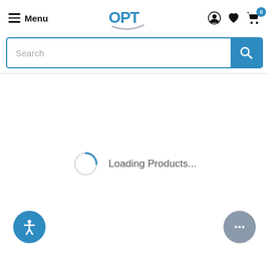Menu | OPT logo | account icon | heart icon | cart icon 0
[Figure (screenshot): Search bar with blue search button and magnifying glass icon]
Loading Products...
[Figure (infographic): Accessibility icon button (blue circle with person figure) on bottom left; chat bubble button (gray circle with ellipsis) on bottom right]